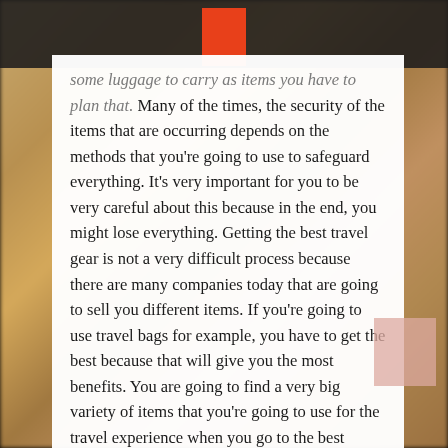some luggage to carry as items you have to plan that. Many of the times, the security of the items that are occurring depends on the methods that you're going to use to safeguard everything. It's very important for you to be very careful about this because in the end, you might lose everything. Getting the best travel gear is not a very difficult process because there are many companies today that are going to sell you different items. If you're going to use travel bags for example, you have to get the best because that will give you the most benefits. You are going to find a very big variety of items that you're going to use for the travel experience when you go to the best companies. In addition to what you are going to buy, you may also find some things that are necessary for your travels but that you have forgotten about. When you are able to get the best travel gear, it is going to be of benefit to you in the following ways.
The first reason why you need to get the best travel